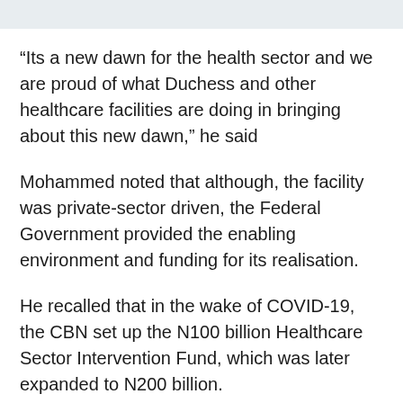“Its a new dawn for the health sector and we are proud of what Duchess and other healthcare facilities are doing in bringing about this new dawn,” he said
Mohammed noted that although, the facility was private-sector driven, the Federal Government provided the enabling environment and funding for its realisation.
He recalled that in the wake of COVID-19, the CBN set up the N100 billion Healthcare Sector Intervention Fund, which was later expanded to N200 billion.
He said the intervention fund was to provide credit